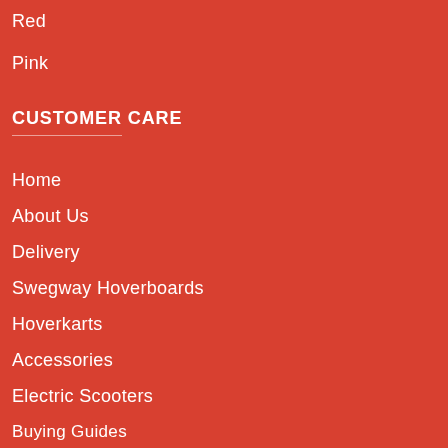Red
Pink
CUSTOMER CARE
Home
About Us
Delivery
Swegway Hoverboards
Hoverkarts
Accessories
Electric Scooters
Buying Guides
Wholesale Enquiry
Warranty & Returns
Terms & Conditions